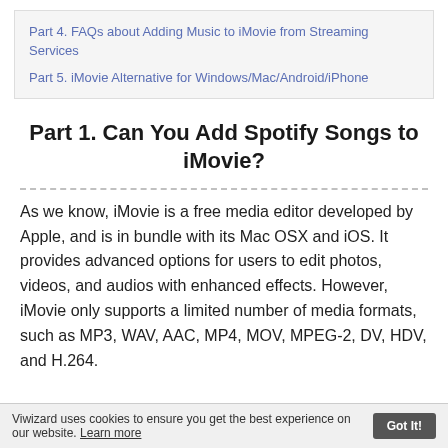Part 4. FAQs about Adding Music to iMovie from Streaming Services
Part 5. iMovie Alternative for Windows/Mac/Android/iPhone
Part 1. Can You Add Spotify Songs to iMovie?
As we know, iMovie is a free media editor developed by Apple, and is in bundle with its Mac OSX and iOS. It provides advanced options for users to edit photos, videos, and audios with enhanced effects. However, iMovie only supports a limited number of media formats, such as MP3, WAV, AAC, MP4, MOV, MPEG-2, DV, HDV, and H.264.
Viwizard uses cookies to ensure you get the best experience on our website. Learn more  Got It!